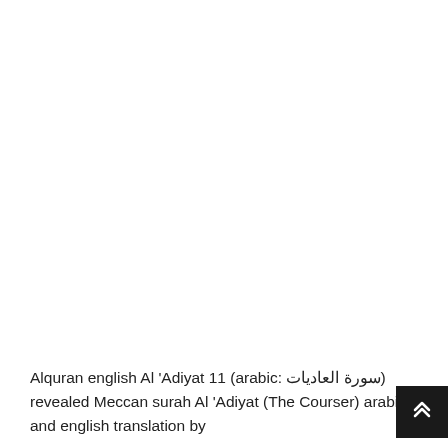Alquran english Al 'Adiyat 11 (arabic: سورة العاديات) revealed Meccan surah Al 'Adiyat (The Courser) arabic and english translation by